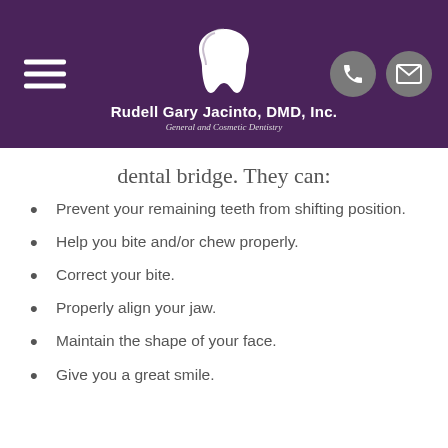Rudell Gary Jacinto, DMD, Inc. — General and Cosmetic Dentistry
dental bridge. They can:
Prevent your remaining teeth from shifting position.
Help you bite and/or chew properly.
Correct your bite.
Properly align your jaw.
Maintain the shape of your face.
Give you a great smile.